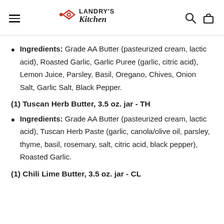Landry's Kitchen
Ingredients: Grade AA Butter (pasteurized cream, lactic acid), Roasted Garlic, Garlic Puree (garlic, citric acid), Lemon Juice, Parsley, Basil, Oregano, Chives, Onion Salt, Garlic Salt, Black Pepper.
(1) Tuscan Herb Butter, 3.5 oz. jar - TH
Ingredients: Grade AA Butter (pasteurized cream, lactic acid), Tuscan Herb Paste (garlic, canola/olive oil, parsley, thyme, basil, rosemary, salt, citric acid, black pepper), Roasted Garlic.
(1) Chili Lime Butter, 3.5 oz. jar - CL